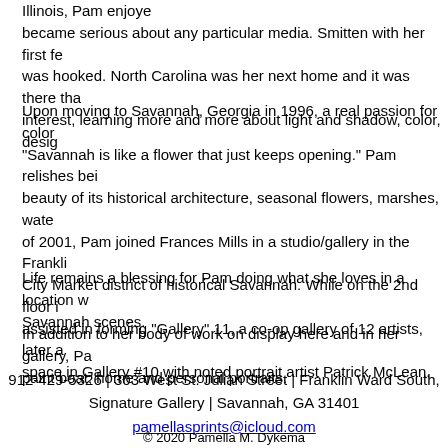Illinois, Pam enjoyed became serious about any particular media. Smitten with her first few was hooked. North Carolina was her next home and it was there that interest, learning more and more about light and shadow, color, design
Upon moving to Savannah, Georgia in 1996, a real passion for color "Savannah is like a flower that just keeps opening." Pam relishes being beauty of its historical architecture, seasonal flowers, marshes, water of 2001, Pam joined Frances Mills in a studio/gallery in the Franklin City Market district of historical Savannah. While on the 2nd floor in assisted in forming "Gallery" 11, a co-op gallery of 12 artists, later a space in Gallery #10 with noted portrait artist Patrick McLean.
Life remains a blessing for Pam doing what she loves in a location w Savannah scenes.
In addition to her body of work on display here and in her gallery, Pa paint boat, home and personal portraits.
912-429-5326 | 303 West St. Julian Street | Franklin Ward South, Signature Gallery | Savannah, GA 31401
pamellasprints@icloud.com
© 2020 Pamella M. Dykema